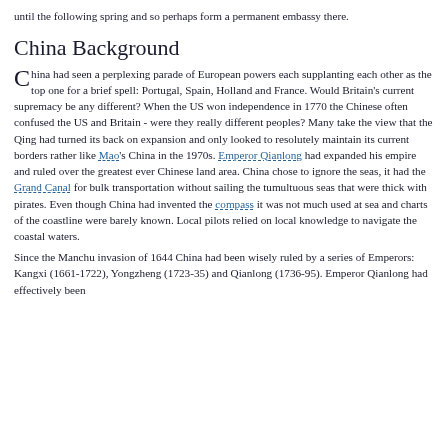until the following spring and so perhaps form a permanent embassy there.
China Background
China had seen a perplexing parade of European powers each supplanting each other as the top one for a brief spell: Portugal, Spain, Holland and France. Would Britain’s current supremacy be any different? When the US won independence in 1770 the Chinese often confused the US and Britain - were they really different peoples? Many take the view that the Qing had turned its back on expansion and only looked to resolutely maintain its current borders rather like Mao’s China in the 1970s. Emperor Qianlong had expanded his empire and ruled over the greatest ever Chinese land area. China chose to ignore the seas, it had the Grand Canal for bulk transportation without sailing the tumultuous seas that were thick with pirates. Even though China had invented the compass it was not much used at sea and charts of the coastline were barely known. Local pilots relied on local knowledge to navigate the coastal waters.
Since the Manchu invasion of 1644 China had been wisely ruled by a series of Emperors: Kangxi (1661-1722), Yongzheng (1723-35) and Qianlong (1736-95). Emperor Qianlong had effectively been...